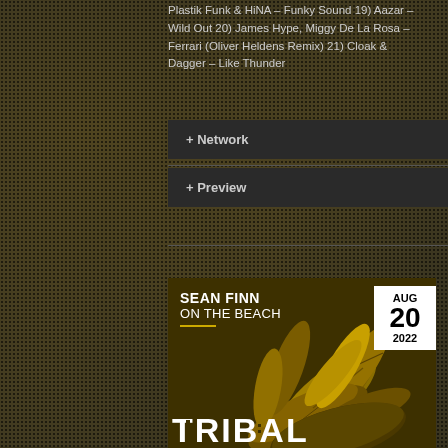Plastik Funk & HiNA – Funky Sound 19) Aazar – Wild Out 20) James Hype, Miggy De La Rosa – Ferrari (Oliver Heldens Remix) 21) Cloak & Dagger – Like Thunder
+ Network
+ Preview
[Figure (illustration): Album art for Sean Finn – On The Beach, Tribal Sessions, Aug 20 2022. Dark olive/gold background with tropical golden leaves. White date badge in top right showing AUG / 20 / 2022. White text 'TRIBAL' at bottom.]